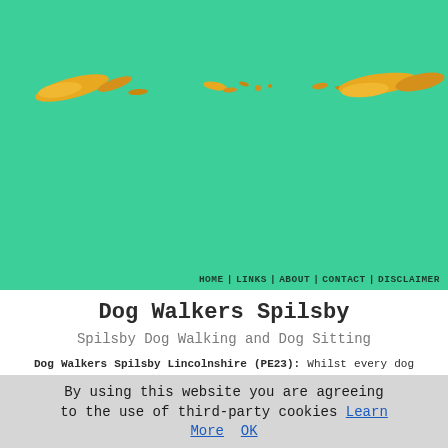[Figure (illustration): Decorative banner with golden/orange leaf and swoosh shapes on a green background]
HOME | LINKS | ABOUT | CONTACT | DISCLAIMER
Dog Walkers Spilsby
Spilsby Dog Walking and Dog Sitting
Dog Walkers Spilsby Lincolnshire (PE23): Whilst every dog owner in Spilsby loves and cherishes their pet dogs, and practically treats them as if they were one of the family, it isn't all that easy to find sufficient time to exercise them as frequently as is recommended, or give them the maximum attention that they quite obviously deserve. With our busy working schedule, a family to care for and social life to maintain it's not always easy to slot in walking and exercising the dog, as frequently as you would like or as much as they need.
By using this website you are agreeing to the use of third-party cookies Learn More  OK